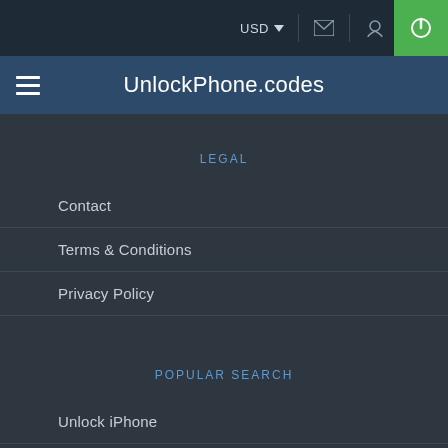USD  [currency selector] [mail icon] [location icon] [power button]
UnlockPhone.codes
LEGAL
Contact
Terms & Conditions
Privacy Policy
POPULAR SEARCH
Unlock iPhone
Samsung Unlock Code
HTC Unlocking Solution